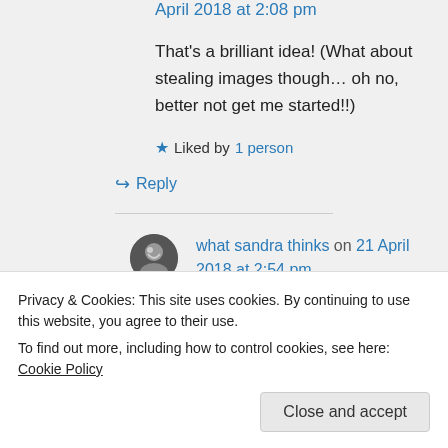April 2018 at 2:08 pm
That’s a brilliant idea! (What about stealing images though… oh no, better not get me started!!)
★ Liked by 1 person
↪ Reply
what sandra thinks on 21 April 2018 at 2:54 pm
Privacy & Cookies: This site uses cookies. By continuing to use this website, you agree to their use.
To find out more, including how to control cookies, see here: Cookie Policy